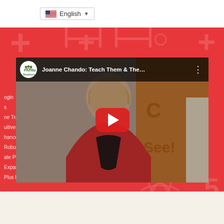[Figure (screenshot): Language selector dropdown showing English with US flag at top of page]
[Figure (screenshot): YouTube video thumbnail showing Joanne Chando: Teach Them & The... with Florida Realtors logo, a woman in red jacket, and YouTube play button overlay. Background text shows menu items: Login, ns, ne Training, uitive Navigation, hanced Support, Robust Google S..., ate Personalizatio..., Expanded Da..., Plus Forms an...]